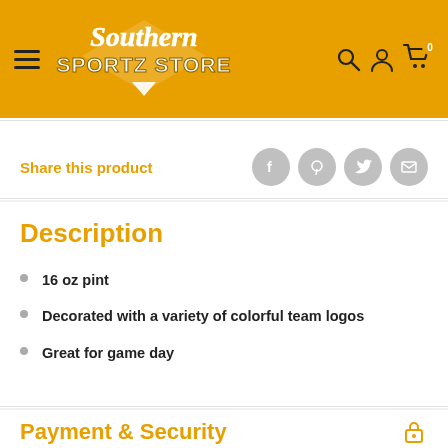[Figure (logo): Southern Sportz Store logo on golden/amber header with hamburger menu icon on the left and search, account, cart icons on the right]
Share this product
Description
16 oz pint
Decorated with a variety of colorful team logos
Great for game day
Payment & Security